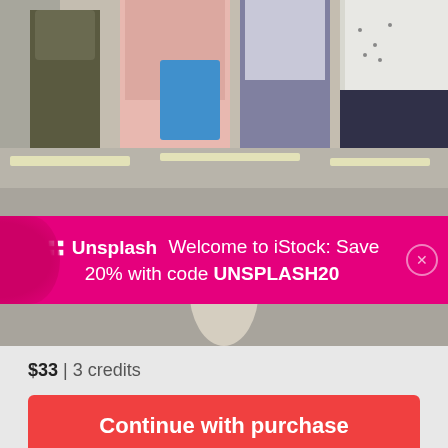[Figure (photo): Group of business professionals standing together in an office setting, one holding a blue tablet/folder]
[Figure (photo): Office interior with fluorescent ceiling lights, blurred background with an overlay promotional banner from Unsplash/iStock offering 20% discount with code UNSPLASH20]
$33 | 3 credits
Continue with purchase